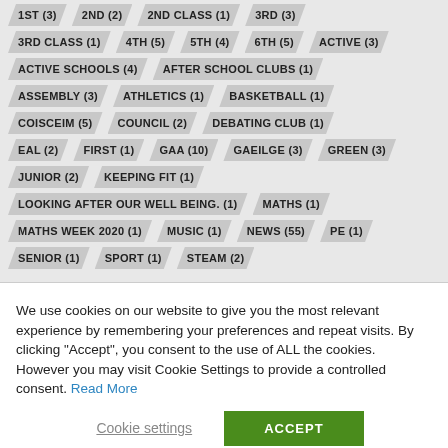1ST (3)
2ND (2)
2ND CLASS (1)
3RD (3)
3RD CLASS (1)
4TH (5)
5TH (4)
6TH (5)
ACTIVE (3)
ACTIVE SCHOOLS (4)
AFTER SCHOOL CLUBS (1)
ASSEMBLY (3)
ATHLETICS (1)
BASKETBALL (1)
COISCEIM (5)
COUNCIL (2)
DEBATING CLUB (1)
EAL (2)
FIRST (1)
GAA (10)
GAEILGE (3)
GREEN (3)
JUNIOR (2)
KEEPING FIT (1)
LOOKING AFTER OUR WELL BEING. (1)
MATHS (1)
MATHS WEEK 2020 (1)
MUSIC (1)
NEWS (55)
PE (1)
SENIOR (1)
SPORT (1)
STEAM (2)
We use cookies on our website to give you the most relevant experience by remembering your preferences and repeat visits. By clicking “Accept”, you consent to the use of ALL the cookies. However you may visit Cookie Settings to provide a controlled consent. Read More
Cookie settings
ACCEPT